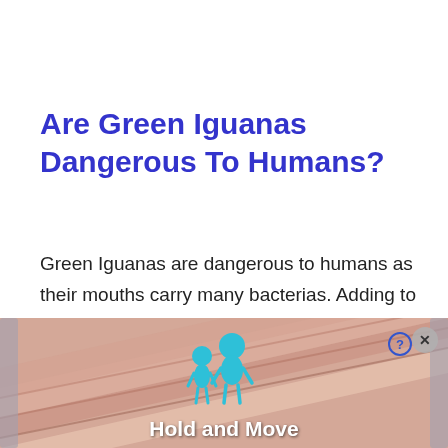Are Green Iguanas Dangerous To Humans?
Green Iguanas are dangerous to humans as their mouths carry many bacterias. Adding to this, Green Iguana's body also has salmonella, which can cause bowel infections and other diseases in humans. Unfortunately, Iguana can be dangerous
[Figure (screenshot): Advertisement banner showing a mobile game 'Hold and Move' with blue cartoon figures on a striped ramp background, with close/question mark buttons in top right corner.]